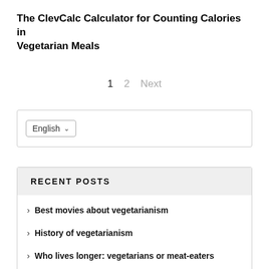The ClevCalc Calculator for Counting Calories in Vegetarian Meals
1  2  Next
English
RECENT POSTS
Best movies about vegetarianism
History of vegetarianism
Who lives longer: vegetarians or meat-eaters